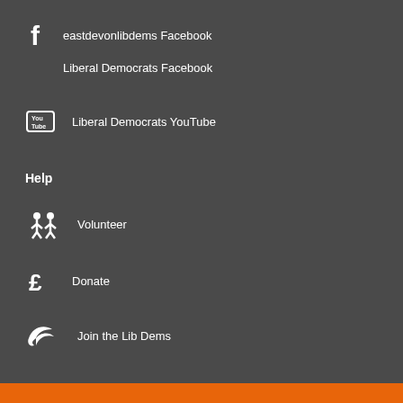eastdevonlibdems Facebook
Liberal Democrats Facebook
Liberal Democrats YouTube
Help
Volunteer
Donate
Join the Lib Dems